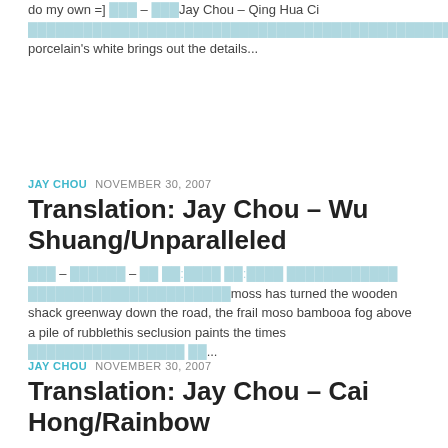do my own =] ███ – ███Jay Chou – Qing Hua Ci █████████████████████████████████████████████████████████████████████████████████████████the porcelain's white brings out the details...
JAY CHOU  NOVEMBER 30, 2007
Translation: Jay Chou – Wu Shuang/Unparalleled
███ – ██████ – ██ ██:████ ██:████ ████████████ ██████████████████████moss has turned the wooden shack greenway down the road, the frail moso bambooa fog above a pile of rubblethis seclusion paints the times █████████████████ ██...
JAY CHOU  NOVEMBER 30, 2007
Translation: Jay Chou – Cai Hong/Rainbow